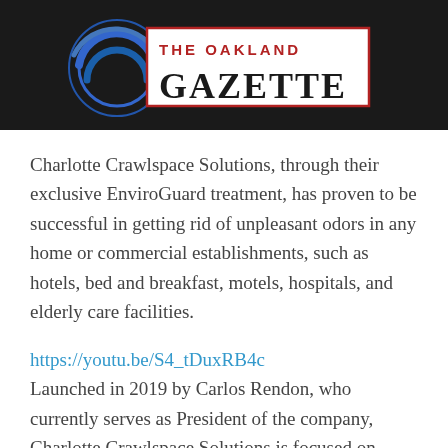[Figure (logo): The Oakland Gazette logo with circular blue emblem and red/black text in bordered box on dark background header bar]
Charlotte Crawlspace Solutions, through their exclusive EnviroGuard treatment, has proven to be successful in getting rid of unpleasant odors in any home or commercial establishments, such as hotels, bed and breakfast, motels, hospitals, and elderly care facilities.
https://youtu.be/S4_tDuxRB4c
Launched in 2019 by Carlos Rendon, who currently serves as President of the company, Charlotte Crawlspace Solutions is focused on insulation installation and replacement, foundation drainage improvements, crawl